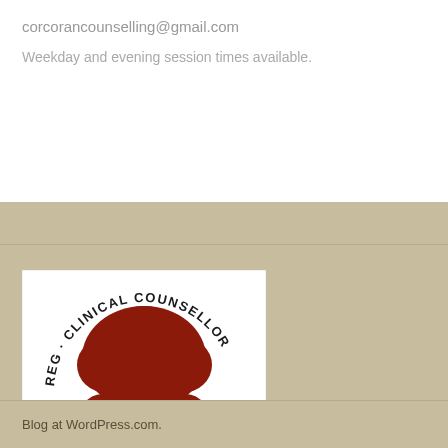corcorancounselling@gmail.com
Weekday and evening session times available.
[Figure (logo): RCC Registered Clinical Counsellor seal/logo with a tree image and two silhouetted faces, with RCC text at the bottom]
Blog at WordPress.com.